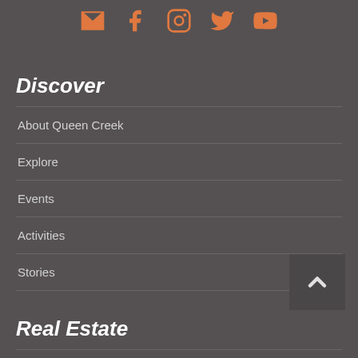[Figure (infographic): Row of 5 social media icons in orange: email/envelope, Facebook, Instagram, Twitter, YouTube]
Discover
About Queen Creek
Explore
Events
Activities
Stories
Real Estate
Real Estate
Listings in Queen Creek